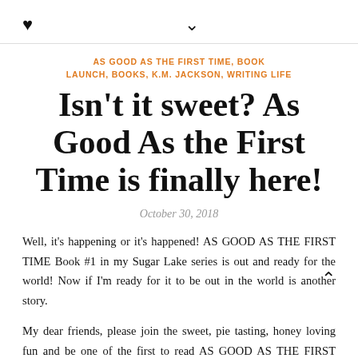♥  ∨
AS GOOD AS THE FIRST TIME, BOOK LAUNCH, BOOKS, K.M. JACKSON, WRITING LIFE
Isn't it sweet? As Good As the First Time is finally here!
October 30, 2018
Well, it's happening or it's happened! AS GOOD AS THE FIRST TIME Book #1 in my Sugar Lake series is out and ready for the world! Now if I'm ready for it to be out in the world is another story.
My dear friends, please join the sweet, pie tasting, honey loving fun and be one of the first to read AS GOOD AS THE FIRST TIME.